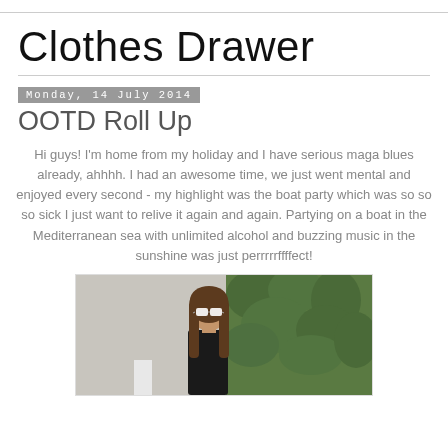Clothes Drawer
Monday, 14 July 2014
OOTD Roll Up
Hi guys! I'm home from my holiday and I have serious maga blues already, ahhhh. I had an awesome time, we just went mental and enjoyed every second - my highlight was the boat party which was so so so sick I just want to relive it again and again. Partying on a boat in the Mediterranean sea with unlimited alcohol and buzzing music in the sunshine was just perrrfffffect!
[Figure (photo): A young woman with long brown hair wearing white cat-eye sunglasses and a black top, standing in front of a green hedge/foliage background.]